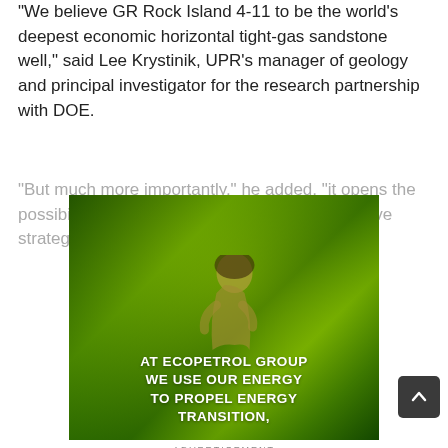"We believe GR Rock Island 4-11 to be the world's deepest economic horizontal tight-gas sandstone well," said Lee Krystinik, UPR's manager of geology and principal investigator for the research partnership with DOE.
"But much more importantly," he added, "it opens the possibility of exploiting a resource that could have strategic importance for the United States."
[Figure (photo): Advertisement image with green tint showing a child in nature with text overlay reading 'AT ECOPETROL GROUP WE USE OUR ENERGY TO PROPEL ENERGY TRANSITION,']
ADVERTISEMENT